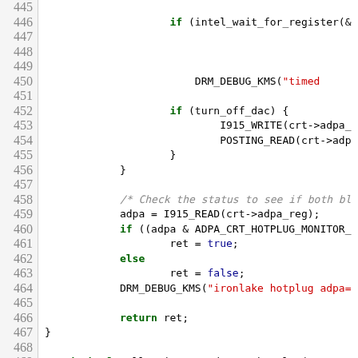[Figure (screenshot): Source code listing showing C code for Intel GPU CRT hotplug detection, lines 445-471, with syntax highlighting in green for keywords, red for strings, and blue for boolean values.]